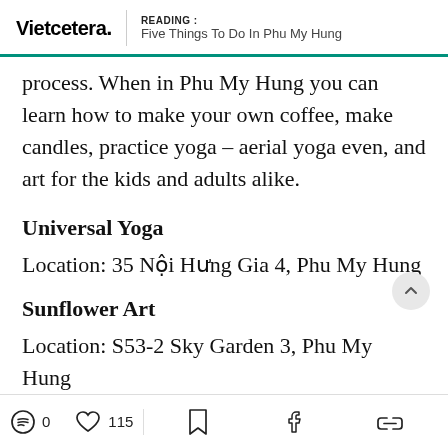READING : Five Things To Do In Phu My Hung
process. When in Phu My Hung you can learn how to make your own coffee, make candles, practice yoga – aerial yoga even, and art for the kids and adults alike.
Universal Yoga
Location: 35 Nội Hưng Gia 4, Phu My Hung
Sunflower Art
Location: S53-2 Sky Garden 3, Phu My Hung
0  115